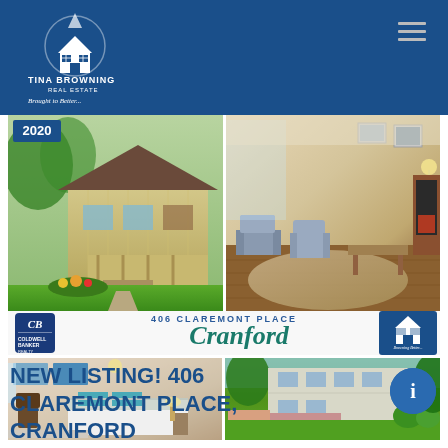[Figure (logo): Tina Browning Real Estate logo with house icon on blue background header, with hamburger menu lines on right]
[Figure (photo): Two-photo collage: left photo shows exterior of house with green lawn and front porch with 2020 badge; right photo shows interior living room with chairs, rug, lamp and fireplace]
[Figure (infographic): Middle card with Coldwell Banker Realty logo on left, text '406 CLAREMONT PLACE' above and 'Cranford' in teal script, Tina Browning logo on right, then two bottom photos: left shows bedroom interior with teal accents, right shows exterior of house with green lawn]
NEW LISTING! 406 CLAREMONT PLACE, CRANFORD